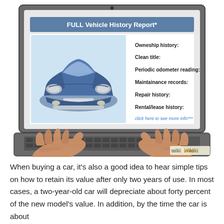[Figure (illustration): Illustration of a person typing on a laptop displaying a 'FULL Vehicle History Report' webpage. The screen shows a blue car image on the left and a list of vehicle history items on the right: Owneship history, Clean title, Periodic odometer reading, Maintainance records, Repair history, Rental/lease history, and a 'click here to see more info***' link. Two hands are visible typing on the keyboard. A wikiHow watermark appears in the bottom right corner.]
When buying a car, it's also a good idea to hear simple tips on how to retain its value after only two years of use. In most cases, a two-year-old car will depreciate about forty percent of the new model's value. In addition, by the time the car is about